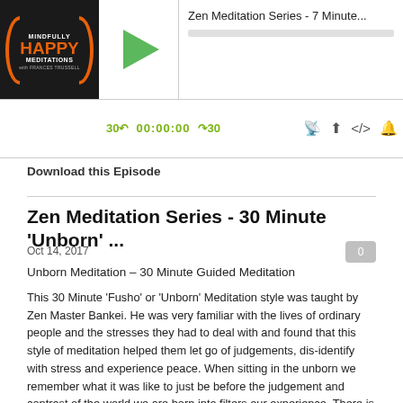[Figure (screenshot): Podcast player for 'Mindfully Happy Meditations with Frances Trussell' showing play button, title 'Zen Meditation Series - 7 Minute...', time display 00:00:00, and controls]
Download this Episode
Zen Meditation Series - 30 Minute 'Unborn' ...
Oct 14, 2017
Unborn Meditation – 30 Minute Guided Meditation
This 30 Minute 'Fusho' or 'Unborn' Meditation style was taught by Zen Master Bankei. He was very familiar with the lives of ordinary people and the stresses they had to deal with and found that this style of meditation helped them let go of judgements, dis-identify with stress and experience peace. When sitting in the unborn we remember what it was like to just be before the judgement and contrast of the world we are born into filters our experience. There is a wide area of open space during the latter stage of the meditation for you to sit in this presence.
Find Frances at: www.mindfullyhappy.com and www.francestrussell.com
and on Twitter at: @francestrussell